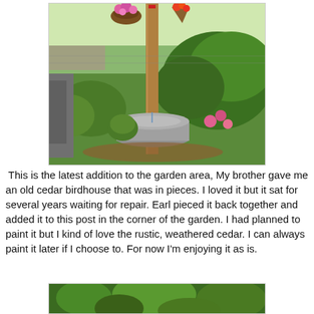[Figure (photo): Outdoor garden scene with a wooden post at center, hanging flower baskets with pink and red blooms at the top, a large round galvanized metal tub at the base of the post, surrounded by lush green plants and pink flowers, with a chain-link fence visible in the background.]
This is the latest addition to the garden area, My brother gave me an old cedar birdhouse that was in pieces. I loved it but it sat for several years waiting for repair. Earl pieced it back together and added it to this post in the corner of the garden. I had planned to paint it but I kind of love the rustic, weathered cedar. I can always paint it later if I choose to. For now I'm enjoying it as is.
[Figure (photo): Partial view of green garden plants, cropped at bottom of page.]